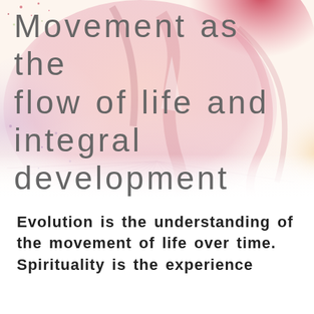[Figure (illustration): Watercolor-style abstract background with pink, red, lavender, and yellow splashes and organic shapes resembling a human figure or flower burst, fading from top to bottom]
Movement as the flow of life and integral development
Evolution is the understanding of the movement of life over time. Spirituality is the experience